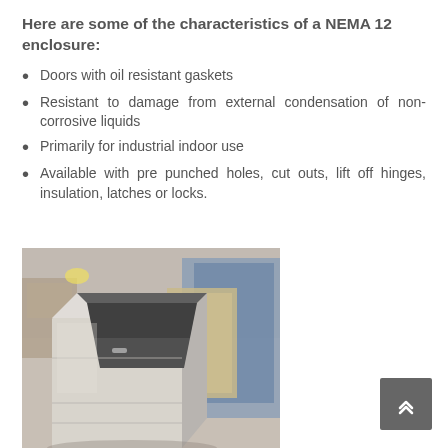Here are some of the characteristics of a NEMA 12 enclosure:
Doors with oil resistant gaskets
Resistant to damage from external condensation of non-corrosive liquids
Primarily for industrial indoor use
Available with pre punched holes, cut outs, lift off hinges, insulation, latches or locks.
[Figure (photo): A NEMA 12 metal enclosure (stainless steel cabinet) in an industrial workshop setting, with open top showing interior, angled view.]